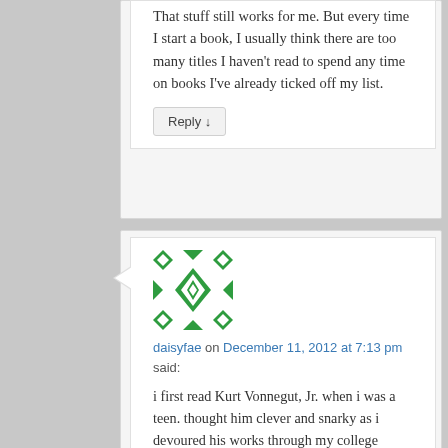That stuff still works for me. But every time I start a book, I usually think there are too many titles I haven't read to spend any time on books I've already ticked off my list.
Reply ↓
[Figure (illustration): Green and white geometric pattern avatar/identicon for user daisyfae]
daisyfae on December 11, 2012 at 7:13 pm said:
i first read Kurt Vonnegut, Jr. when i was a teen. thought him clever and snarky as i devoured his works through my college years. started re-reading him as an adult? and i cried. a lot. totally different experiences.pinched doll-face? looks like